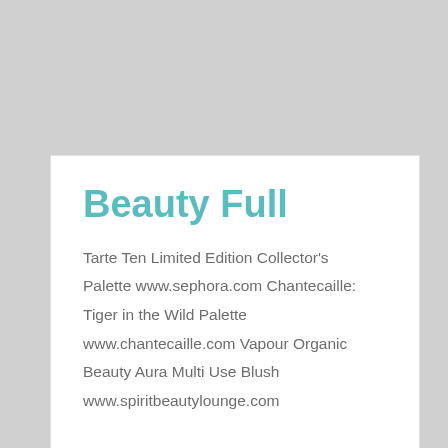Beauty Full
Tarte Ten Limited Edition Collector's Palette www.sephora.com Chantecaille: Tiger in the Wild Palette www.chantecaille.com Vapour Organic Beauty Aura Multi Use Blush www.spiritbeautylounge.com